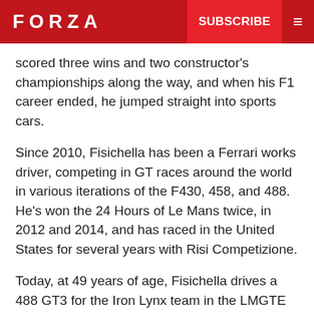FORZA  SUBSCRIBE
scored three wins and two constructor's championships along the way, and when his F1 career ended, he jumped straight into sports cars.
Since 2010, Fisichella has been a Ferrari works driver, competing in GT races around the world in various iterations of the F430, 458, and 488. He's won the 24 Hours of Le Mans twice, in 2012 and 2014, and has raced in the United States for several years with Risi Competizione.
Today, at 49 years of age, Fisichella drives a 488 GT3 for the Iron Lynx team in the LMGTE